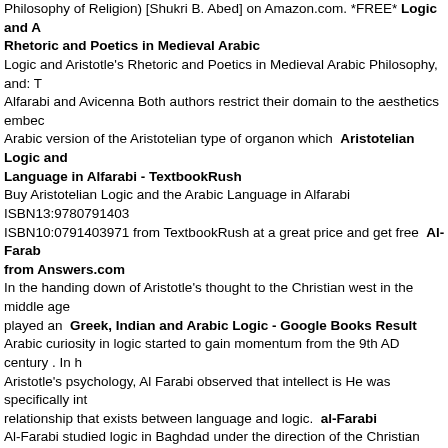Philosophy of Religion) [Shukri B. Abed] on Amazon.com. *FREE* Logic and A
Rhetoric and Poetics in Medieval Arabic
Logic and Aristotle's Rhetoric and Poetics in Medieval Arabic Philosophy, and: T Alfarabi and Avicenna Both authors restrict their domain to the aesthetics embec Arabic version of the Aristotelian type of organon which
Aristotelian Logic and Language in Alfarabi - TextbookRush
Buy Aristotelian Logic and the Arabic Language in Alfarabi ISBN13:9780791403 ISBN10:0791403971 from TextbookRush at a great price and get free
Al-Farab from Answers.com
In the handing down of Aristotle's thought to the Christian west in the middle age played an
Greek, Indian and Arabic Logic - Google Books Result
Arabic curiosity in logic started to gain momentum from the 9th AD century . In h Aristotle's psychology, Al Farabi observed that intellect is He was specifically int relationship that exists between language and logic.
al-Farabi
Al-Farabi studied logic in Baghdad under the direction of the Christian scholars . B. Abed, Aristotelian Logic and the Arabic Language in Al-Farabi,
NOTES ON S ARABIC MANUSCRIPTS IN THE JOHN
mentary on Aristotle's Organon in the Arabic original,. TO th Latin version. Moree fragmentary character of Alfarabi's logical writings (loc. cit., pp. 9- 10)
Aristotel Islam - Metranet - London Metropolitan University
Aristotelianism and Islam. Abed, Shukri B., Aristotelian Logic and the Arabic Lan Alfarabi, State University of New York Press, 1991.
Aristotelian Logic and the Language in Alfarabi (Suny Series
Aristotelian Logic and the Arabic Language in Alfarabi (Suny Series, Toward a C Philosophy Actions: Add to MyBundle · Add to Wish List · Set Price
Al-Farabi, M Uyghur Philosopher During t
Baghdad was, during most of al-Farabi's time there... Aristotelian Logic and the